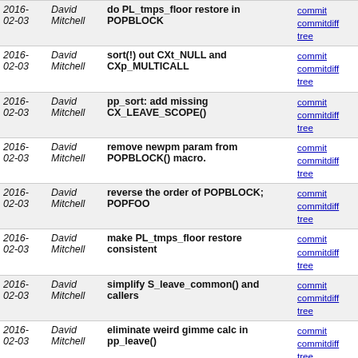| Date | Author | Message | Links |
| --- | --- | --- | --- |
| 2016-02-03 | David Mitchell | do PL_tmps_floor restore in POPBLOCK | commit | commitdiff | tree |
| 2016-02-03 | David Mitchell | sort(!) out CXt_NULL and CXp_MULTICALL | commit | commitdiff | tree |
| 2016-02-03 | David Mitchell | pp_sort: add missing CX_LEAVE_SCOPE() | commit | commitdiff | tree |
| 2016-02-03 | David Mitchell | remove newpm param from POPBLOCK() macro. | commit | commitdiff | tree |
| 2016-02-03 | David Mitchell | reverse the order of POPBLOCK; POPFOO | commit | commitdiff | tree |
| 2016-02-03 | David Mitchell | make PL_tmps_floor restore consistent | commit | commitdiff | tree |
| 2016-02-03 | David Mitchell | simplify S_leave_common() and callers | commit | commitdiff | tree |
| 2016-02-03 | David Mitchell | eliminate weird gimme calc in pp_leave() | commit | commitdiff | tree |
| 2016-02-03 | David Mitchell | eliminate LEAVESUB() macro | commit | commitdiff | tree |
| 2016-02-03 | David Mitchell | make LEAVESUB() always immediately follow POPSUB() | commit | commitdiff | tree |
| 2016-02-03 | David Mitchell | move CX_LEAVE_SCOPE into POPEVAL | commit | commitdiff | tree |
| 2016-02-03 | David Mitchell | add CX_LEAVE_SCOPE(cx) macro | commit | commitdiff | tree |
| 2016-02-03 | David Mitchell | call LEAVE_SCOPE() before POPEVAL() | commit | commitdiff | tree |